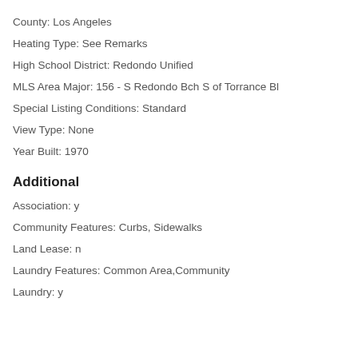County: Los Angeles
Heating Type: See Remarks
High School District: Redondo Unified
MLS Area Major: 156 - S Redondo Bch S of Torrance Bl
Special Listing Conditions: Standard
View Type: None
Year Built: 1970
Additional
Association: y
Community Features: Curbs, Sidewalks
Land Lease: n
Laundry Features: Common Area,Community
Laundry: y